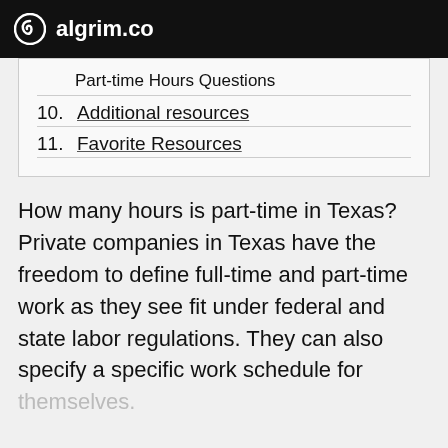algrim.co
Part-time Hours Questions
10. Additional resources
11. Favorite Resources
How many hours is part-time in Texas? Private companies in Texas have the freedom to define full-time and part-time work as they see fit under federal and state labor regulations. They can also specify a specific work schedule for themselves.